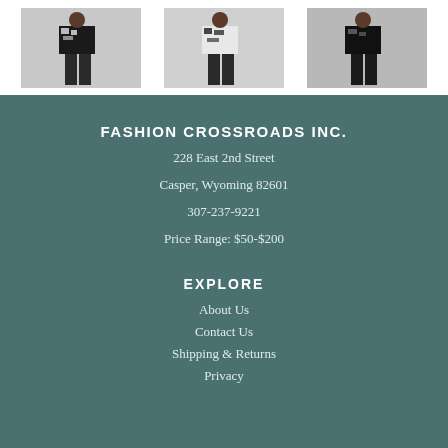[Figure (photo): Three fashion model photos showing clothing items – black and white patterned outfits]
FASHION CROSSROADS INC.
228 East 2nd Street
Casper, Wyoming 82601
307-237-9221
Price Range: $50-$200
EXPLORE
About Us
Contact Us
Shipping & Returns
Privacy